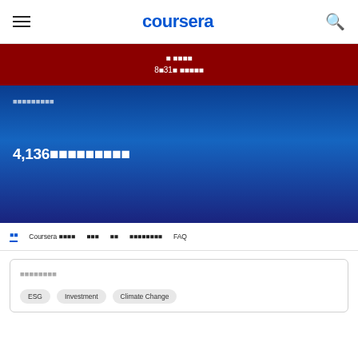coursera
[Figure (screenshot): Dark red promotional banner with Japanese text and date 8月31日]
コースを検索する
4,136件のコースとプログラム
全て  Coursera プラスとは  学習内容  対象  スキルやキャリアを高める  FAQ
キーワードで検索
ESG  Investment  Climate Change